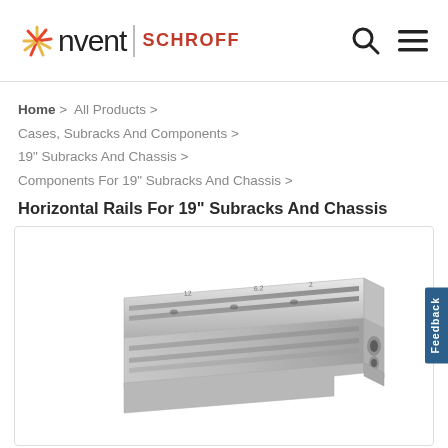[Figure (logo): nvent SCHROFF logo with sunburst icon]
Home > All Products > Cases, Subracks And Components > 19" Subracks And Chassis > Components For 19" Subracks And Chassis >
Horizontal Rails For 19" Subracks And Chassis
[Figure (photo): Aluminum horizontal rail product photo for 19 inch subracks and chassis, showing silver extruded aluminum rail profile at an angle]